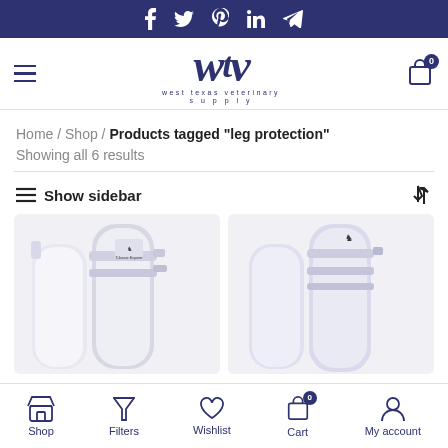Social media icons: Facebook, Twitter, Pinterest, LinkedIn, Telegram
[Figure (logo): West Texas Veterinary Supply (wtv) logo with hamburger menu and cart icon showing 0 items]
Home / Shop / Products tagged “leg protection”
Showing all 6 results
Show sidebar
[Figure (photo): Two white horse leg protection boots/splint boots shown side by side, with Classic Equine branding visible]
Shop | Filters | Wishlist | Cart (0) | My account